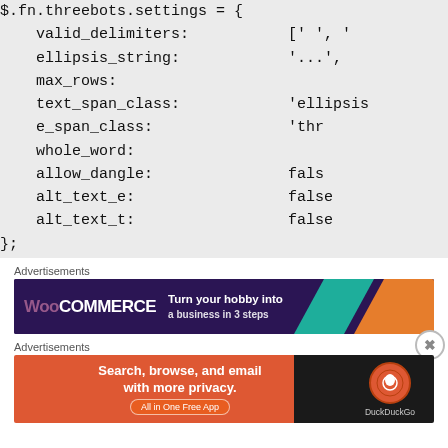$.fn.threebots.settings = {
    valid_delimiters:           [' ', '
    ellipsis_string:            '...',
    max_rows:
    text_span_class:            'ellipsis
    e_span_class:               'thr
    whole_word:
    allow_dangle:               fals
    alt_text_e:                 false
    alt_text_t:                 false
};
Advertisements
[Figure (other): WooCommerce advertisement banner: 'Turn your hobby into a business in 3 steps' on dark purple background with teal and orange shapes]
Advertisements
[Figure (other): DuckDuckGo advertisement banner: 'Search, browse, and email with more privacy. All in One Free App' on orange background with DuckDuckGo logo on dark right side]